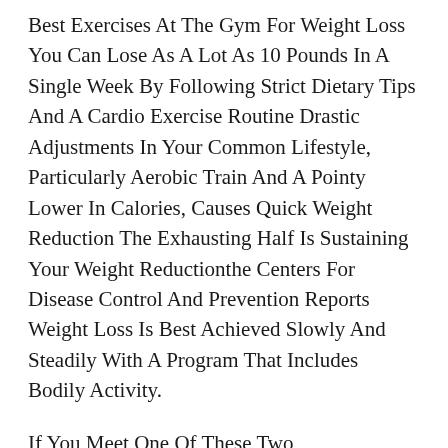Best Exercises At The Gym For Weight Loss You Can Lose As A Lot As 10 Pounds In A Single Week By Following Strict Dietary Tips And A Cardio Exercise Routine Drastic Adjustments In Your Common Lifestyle, Particularly Aerobic Train And A Pointy Lower In Calories, Causes Quick Weight Reduction The Exhausting Half Is Sustaining Your Weight Reductionthe Centers For Disease Control And Prevention Reports Weight Loss Is Best Achieved Slowly And Steadily With A Program That Includes Bodily Activity.
If You Meet One Of These Two Requirements, You Can Speak Along With Your Physician About Getting A Prescription For One Of Many Prescription Only Weight Loss Pills These Ingredients Make You Re Feeling More Full, Or Much Less Hungry, And Thus Less More Doubtless To Eat An Excessive Amount Of Food Fat